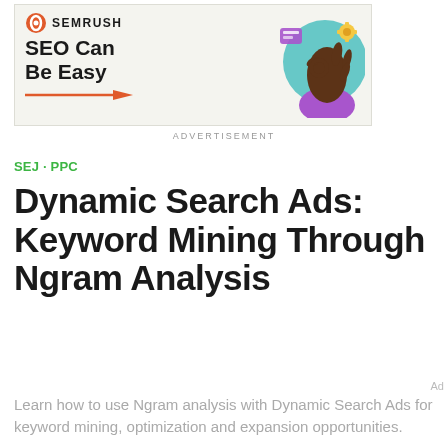[Figure (illustration): SEMrush advertisement banner with logo, 'SEO Can Be Easy' tagline with orange arrow, and a 3D hand giving OK gesture with floating UI elements on teal/purple background circle]
ADVERTISEMENT
SEJ · PPC
Dynamic Search Ads: Keyword Mining Through Ngram Analysis
Learn how to use Ngram analysis with Dynamic Search Ads for keyword mining, optimization and expansion opportunities.